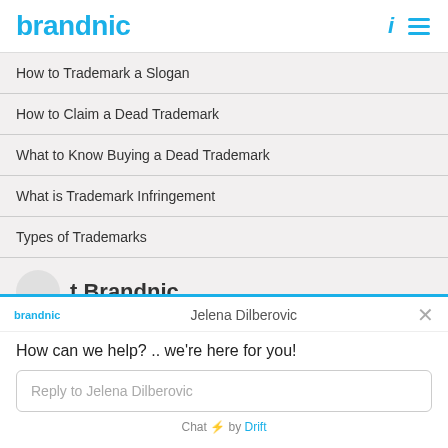brandnic
How to Trademark a Slogan
How to Claim a Dead Trademark
What to Know Buying a Dead Trademark
What is Trademark Infringement
Types of Trademarks
t Brandnic
brandnic | Jelena Dilberovic
How can we help? .. we're here for you!
Reply to Jelena Dilberovic
Chat ⚡ by Drift